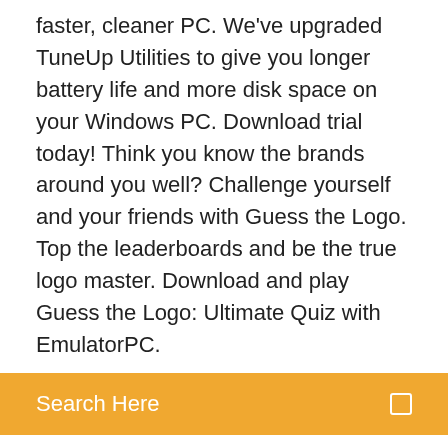faster, cleaner PC. We've upgraded TuneUp Utilities to give you longer battery life and more disk space on your Windows PC. Download trial today! Think you know the brands around you well? Challenge yourself and your friends with Guess the Logo. Top the leaderboards and be the true logo master. Download and play Guess the Logo: Ultimate Quiz with EmulatorPC.
Search Here
Quiz on PC (Windows) which is actually created by Enrasoft. offering useful features. Buy Icomania Guess The Icon Quiz: Read 24 Apps & Games Reviews - Amazon.com Download Picture Quiz Logos and enjoy a fun logo quiz on PC for free. How many brand logos are you familiar with? Can you recognize the trademarks and distinctive symbols? Can you guess the company associated with these signs and emblems?
We installed the top 10 apps from Download.com, and you'll never believe what happened! Well... I guess maybe you might